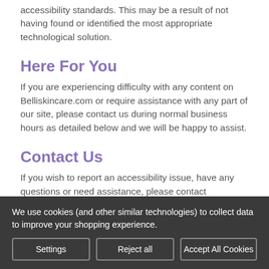accessibility standards. This may be a result of not having found or identified the most appropriate technological solution.
Here For You
If you are experiencing difficulty with any content on Belliskincare.com or require assistance with any part of our site, please contact us during normal business hours as detailed below and we will be happy to assist.
Contact Us
If you wish to report an accessibility issue, have any questions or need assistance, please contact
We use cookies (and other similar technologies) to collect data to improve your shopping experience.